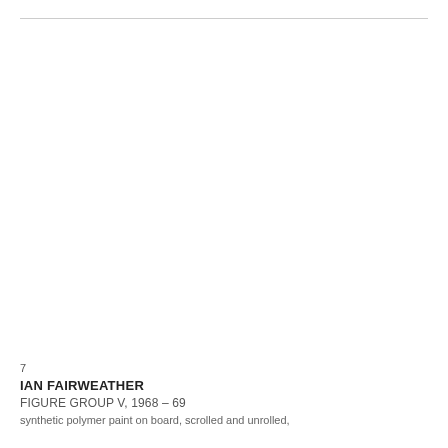[Figure (photo): Artwork image placeholder — white/blank area where artwork photograph would appear]
7
IAN FAIRWEATHER
FIGURE GROUP V, 1968 – 69
synthetic polymer paint on board, scrolled and unrolled,